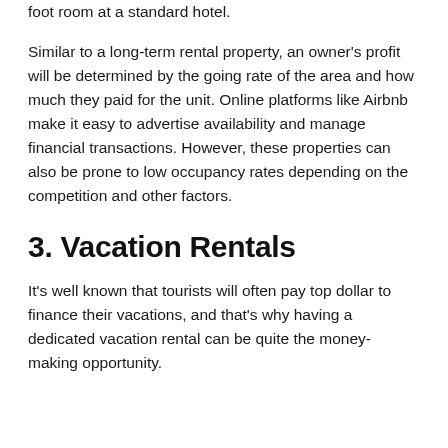foot room at a standard hotel.
Similar to a long-term rental property, an owner's profit will be determined by the going rate of the area and how much they paid for the unit. Online platforms like Airbnb make it easy to advertise availability and manage financial transactions. However, these properties can also be prone to low occupancy rates depending on the competition and other factors.
3. Vacation Rentals
It's well known that tourists will often pay top dollar to finance their vacations, and that's why having a dedicated vacation rental can be quite the money-making opportunity.